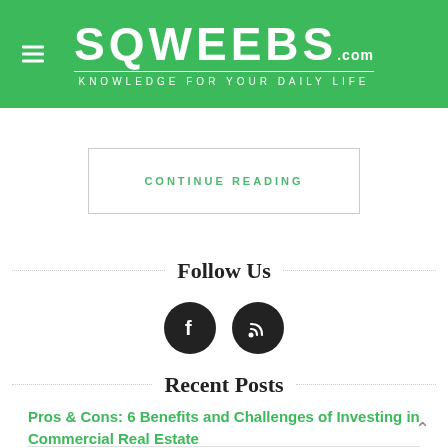SQWEEBS.com KNOWLEDGE FOR YOUR DAILY LIFE
CONTINUE READING
Follow Us
[Figure (illustration): Two circular social media icons: Facebook (f) and RSS feed icon, both dark/black circles on white background]
Recent Posts
Pros & Cons: 6 Benefits and Challenges of Investing in Commercial Real Estate